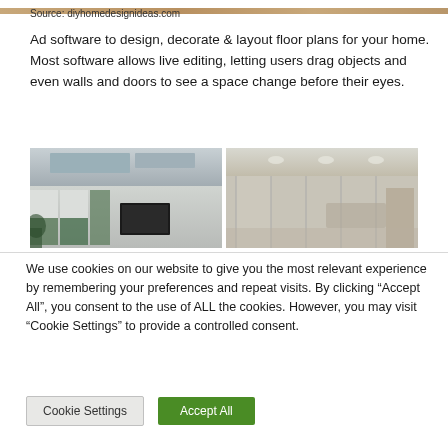[Figure (photo): Partial top strip of interior design image]
Source: diyhomedesignideas.com
Ad software to design, decorate & layout floor plans for your home. Most software allows live editing, letting users drag objects and even walls and doors to see a space change before their eyes.
[Figure (photo): Two interior room design photos side by side — left shows a modern living room with large windows and TV, right shows a glass-walled modern interior space]
We use cookies on our website to give you the most relevant experience by remembering your preferences and repeat visits. By clicking “Accept All”, you consent to the use of ALL the cookies. However, you may visit “Cookie Settings” to provide a controlled consent.